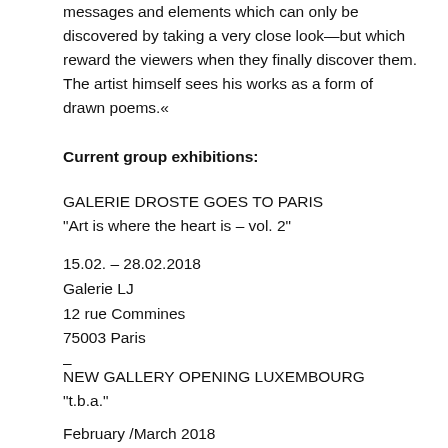messages and elements which can only be discovered by taking a very close look—but which reward the viewers when they finally discover them. The artist himself sees his works as a form of drawn poems.«
Current group exhibitions:
GALERIE DROSTE GOES TO PARIS
"Art is where the heart is – vol. 2"
15.02. – 28.02.2018
Galerie LJ
12 rue Commines
75003 Paris
–
NEW GALLERY OPENING LUXEMBOURG
"t.b.a."
February /March 2018
–
"Daily News"
September 2018